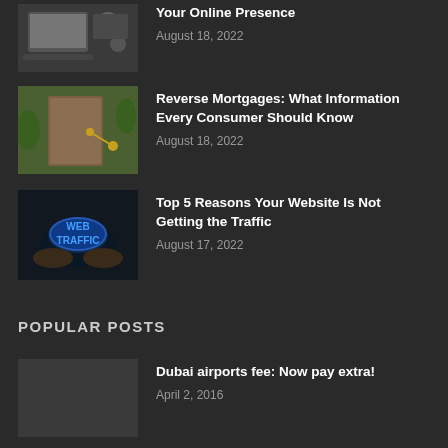[Figure (photo): Partial article thumbnail showing laptop/tech items]
Your Online Presence
August 18, 2022
[Figure (photo): Article thumbnail showing keys in a door lock with greenery]
Reverse Mortgages: What Information Every Consumer Should Know
August 18, 2022
[Figure (photo): Article thumbnail showing hands holding a blue glowing WEB TRAFFIC sign]
Top 5 Reasons Your Website Is Not Getting the Traffic
August 17, 2022
POPULAR POSTS
[Figure (photo): Popular post thumbnail placeholder]
Dubai airports fee: Now pay extra!
April 2, 2016